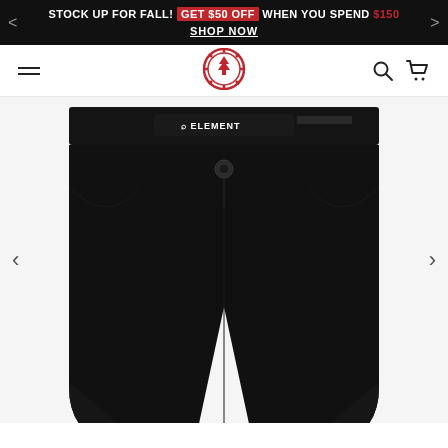STOCK UP FOR FALL! GET $50 OFF WHEN YOU SPEND $150 SHOP NOW
[Figure (logo): Element skateboards logo - red circular badge with tree icon]
[Figure (photo): Black Element brand chino shorts shown from front, waistband with Element logo label and button, on white/grey background]